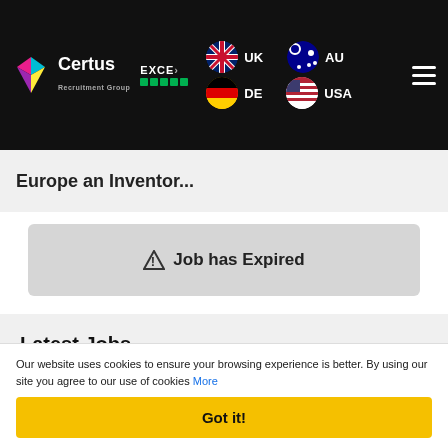Certus Recruitment Group — UK, AU, DE, USA
Europe an Inventor...
⚠ Job has Expired
Latest Jobs
Dallas, Orlando, or Tampa
Sales, Finance & Commercial
Our website uses cookies to ensure your browsing experience is better. By using our site you agree to our use of cookies More
Got it!